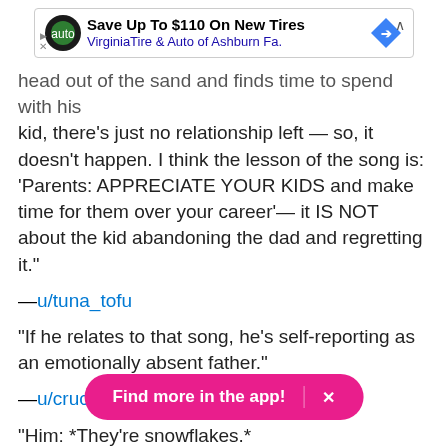[Figure (screenshot): Advertisement banner: Save Up To $110 On New Tires - VirginiaTire & Auto of Ashburn Fa.]
head out of the sand and finds time to spend with his kid, there's just no relationship left — so, it doesn't happen. I think the lesson of the song is: 'Parents: APPRECIATE YOUR KIDS and make time for them over your career'— it IS NOT about the kid abandoning the dad and regretting it."
—u/tuna_tofu
"If he relates to that song, he's self-reporting as an emotionally absent father."
—u/crucibleduke
"Him: *They're snowflakes.*

Also him: *Ge[Find more in the app!]t offended.*"